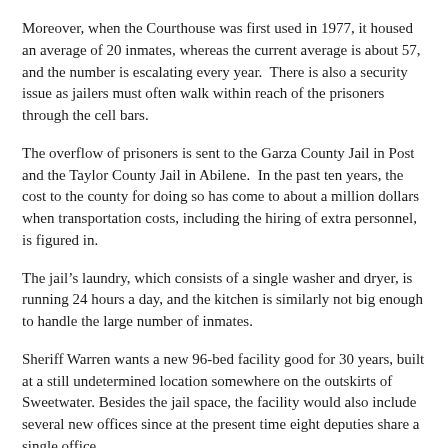Moreover, when the Courthouse was first used in 1977, it housed an average of 20 inmates, whereas the current average is about 57, and the number is escalating every year.  There is also a security issue as jailers must often walk within reach of the prisoners through the cell bars.
The overflow of prisoners is sent to the Garza County Jail in Post and the Taylor County Jail in Abilene.  In the past ten years, the cost to the county for doing so has come to about a million dollars when transportation costs, including the hiring of extra personnel, is figured in.
The jail's laundry, which consists of a single washer and dryer, is running 24 hours a day, and the kitchen is similarly not big enough to handle the large number of inmates.
Sheriff Warren wants a new 96-bed facility good for 30 years, built at a still undetermined location somewhere on the outskirts of Sweetwater. Besides the jail space, the facility would also include several new offices since at the present time eight deputies share a single office.